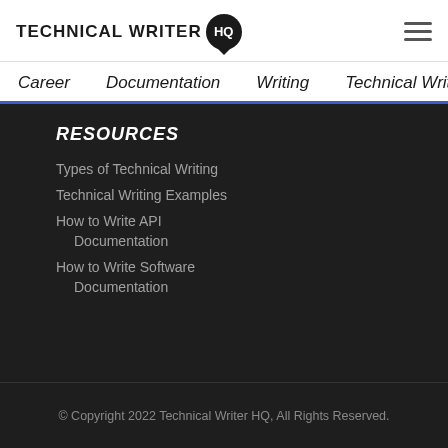TECHNICAL WRITER HQ
Career  Documentation  Writing  Technical Writing  UX
RESOURCES
Types of Technical Writing
Technical Writing Examples
How to Write API Documentation
How to Write Software Documentation
© Copyright 2022 Technical Writer HQ, All Rights Reserved.